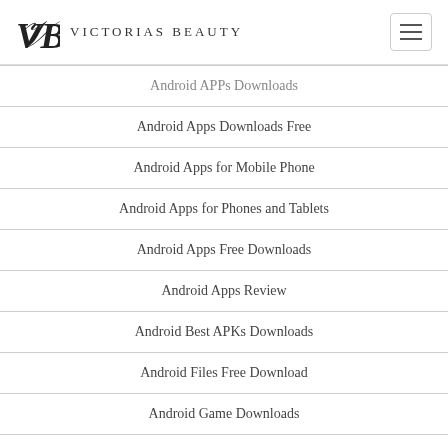Victorias Beauty
Android APPs Downloads
Android Apps Downloads Free
Android Apps for Mobile Phone
Android Apps for Phones and Tablets
Android Apps Free Downloads
Android Apps Review
Android Best APKs Downloads
Android Files Free Download
Android Game Downloads